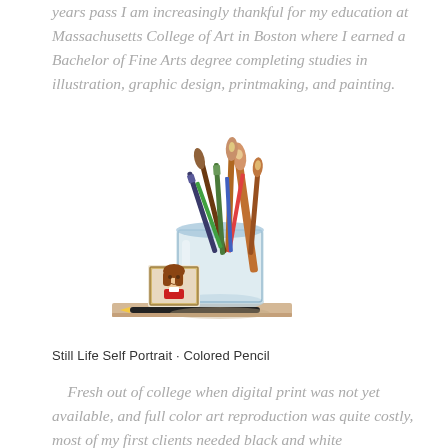years pass I am increasingly thankful for my education at Massachusetts College of Art in Boston where I earned a Bachelor of Fine Arts degree completing studies in illustration, graphic design, printmaking, and painting.
[Figure (illustration): Illustrated colored pencil drawing of a glass jar holding multiple paintbrushes and art tools, with a small framed portrait of a child leaning against it, and a pencil lying in front, all resting on a wooden surface.]
Still Life Self Portrait · Colored Pencil
Fresh out of college when digital print was not yet available, and full color art reproduction was quite costly, most of my first clients needed black and white illustrations to keep within budget. I